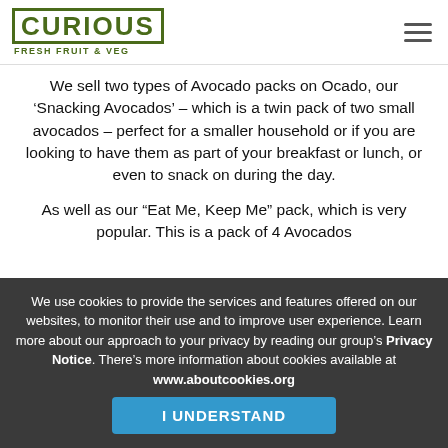CURIOUS FRESH FRUIT & VEG
We sell two types of Avocado packs on Ocado, our ‘Snacking Avocados’ – which is a twin pack of two small avocados – perfect for a smaller household or if you are looking to have them as part of your breakfast or lunch, or even to snack on during the day.
As well as our “Eat Me, Keep Me” pack, which is very popular. This is a pack of 4 Avocados
We use cookies to provide the services and features offered on our websites, to monitor their use and to improve user experience. Learn more about our approach to your privacy by reading our group’s Privacy Notice. There’s more information about cookies available at www.aboutcookies.org
I UNDERSTAND